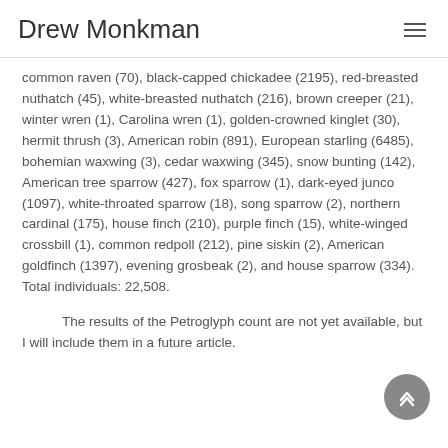Drew Monkman
common raven (70), black-capped chickadee (2195), red-breasted nuthatch (45), white-breasted nuthatch (216), brown creeper (21), winter wren (1), Carolina wren (1), golden-crowned kinglet (30), hermit thrush (3), American robin (891), European starling (6485), bohemian waxwing (3), cedar waxwing (345), snow bunting (142), American tree sparrow (427), fox sparrow (1), dark-eyed junco (1097), white-throated sparrow (18), song sparrow (2), northern cardinal (175), house finch (210), purple finch (15), white-winged crossbill (1), common redpoll (212), pine siskin (2), American goldfinch (1397), evening grosbeak (2), and house sparrow (334). Total individuals: 22,508.
The results of the Petroglyph count are not yet available, but I will include them in a future article.